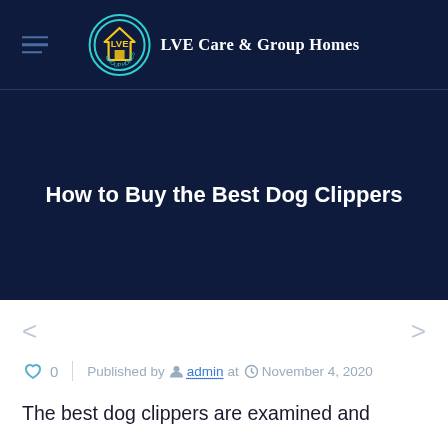LVE Care & Group Homes
How to Buy the Best Dog Clippers
❤ 0  |  Published by admin at  November 4, 2020
The best dog clippers are examined and